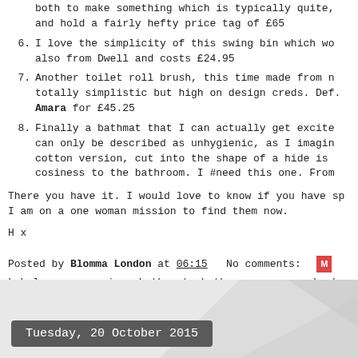both to make something which is typically quite, and hold a fairly hefty price tag of £65
6. I love the simplicity of this swing bin which wo also from Dwell and costs £24.95
7. Another toilet roll brush, this time made from n totally simplistic but high on design creds. Def. Amara for £45.25
8. Finally a bathmat that I can actually get excite can only be described as unhygienic, as I imagin cotton version, cut into the shape of a hide is cosiness to the bathroom. I #need this one. From
There you have it. I would love to know if you have sp I am on a one woman mission to find them now.
H x
Posted by Blomma London at 06:15   No comments:
Labels: accessories, bath mat, bathroom, copper, hooks
Tuesday, 20 October 2015